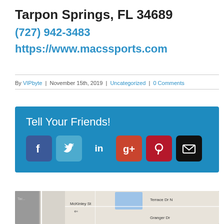Tarpon Springs, FL 34689
(727) 942-3483
https://www.macssports.com
By VIPbyte | November 15th, 2019 | Uncategorized | 0 Comments
[Figure (infographic): Tell Your Friends! social sharing box with icons for Facebook, Twitter, LinkedIn, Google+, Pinterest, and Email on a blue background]
[Figure (map): Partial Google Maps view showing streets including McKinley St, Terrace Dr N, and Granger Dr near Tarpon Springs, FL]